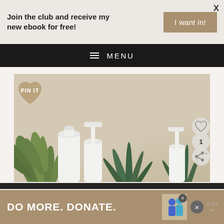Join the club and receive my new ebook for free!
I want in!
X
≡ MENU
[Figure (photo): Product photo with white cosmetic bottles, green plants (fern and aloe vera), on a beige/tan background. PIN IT button with heart shape overlaid in top left corner. Like heart icon, count '1', and share icon on right side.]
PIN IT
1
DO MORE. DONATE.